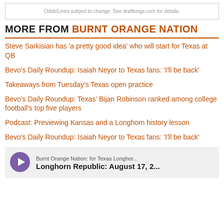Odds/Lines subject to change. See draftkings.com for details.
MORE FROM BURNT ORANGE NATION
Steve Sarkisian has 'a pretty good idea' who will start for Texas at QB
Bevo's Daily Roundup: Isaiah Neyor to Texas fans: 'I'll be back'
Takeaways from Tuesday's Texas open practice
Bevo's Daily Roundup: Texas' Bijan Robinson ranked among college football's top five players
Podcast: Previewing Kansas and a Longhorn history lesson
Bevo's Daily Roundup: Isaiah Neyor to Texas fans: 'I'll be back'
[Figure (other): Podcast player widget showing 'Burnt Orange Nation: for Texas Longhor...' with title 'Longhorn Republic: August 17, 2...' and a play button]